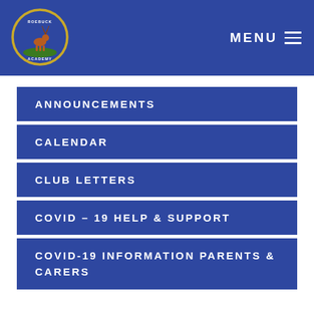MENU
[Figure (logo): Roebuck Academy school crest logo — circular badge with gold border, blue background, showing a deer on green grass with school name text]
ANNOUNCEMENTS
CALENDAR
CLUB LETTERS
COVID – 19 HELP & SUPPORT
COVID-19 INFORMATION PARENTS & CARERS